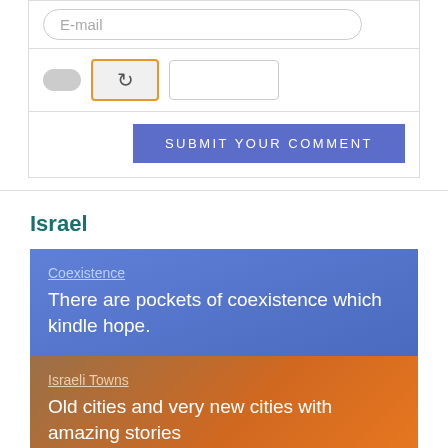E-mail
[Figure (screenshot): CAPTCHA widget row with toggle, refresh button (orange border), and input field]
SUBMIT YOUR COMMENT
Israel
Coexistence
There are pockets of coexistence which kindle hope.
Israeli Towns
Old cities and very new cities with amazing stories